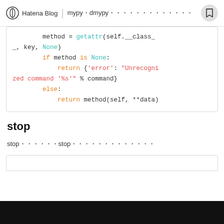Hatena Blog | mypy・dmypy・・・・・・・・・・・・・
[Figure (screenshot): Code block showing Python method dispatch: method = getattr(self.__class__, key, None) / if method is None: / return {'error': "Unrecognized command '%s'" % command} / else: / return method(self, **data)]
stop
stop・・・・・・stop・・・・・・・・・・・・・
[Figure (screenshot): Bottom partial code block (cropped)]